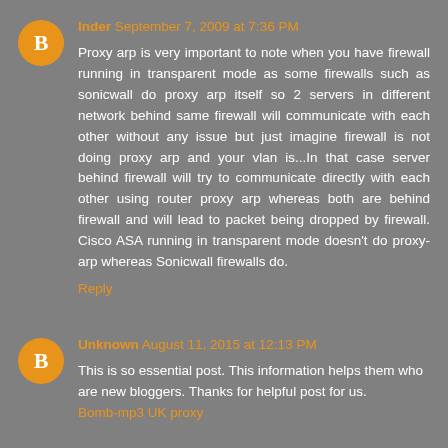Inder September 7, 2009 at 7:36 PM
Proxy arp is very important to note when you have firewall running in transparent mode as some firewalls such as sonicwall do proxy arp itself so 2 servers in different network behind same firewall will communicate with each other without any issue but just imagine firewall is not doing proxy arp and your vlan is...In that case server behind firewall will try to communicate directly with each other using router proxy arp whereas both are behind firewall and will lead to packet being dropped by firewall. Cisco ASA running in transparent mode doesn't do proxy-arp whereas Sonicwall firewalls do.
Reply
Unknown August 11, 2015 at 12:13 PM
This is so essential post. This information helps them who are new bloggers. Thanks for helpful post for us.
Bomb-mp3 UK proxy